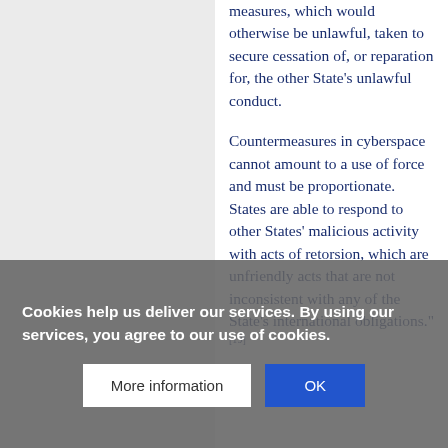measures, which would otherwise be unlawful, taken to secure cessation of, or reparation for, the other State's unlawful conduct.
Countermeasures in cyberspace cannot amount to a use of force and must be proportionate. States are able to respond to other States' malicious activity with acts of retorsion, which are unfriendly acts that are not inconsistent with any of the State's international obligations."[19]
Cookies help us deliver our services. By using our services, you agree to our use of cookies.